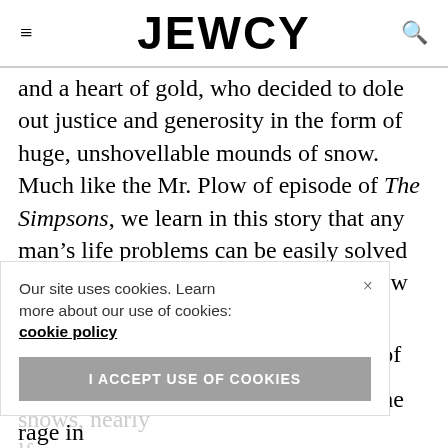JEWCY
and a heart of gold, who decided to dole out justice and generosity in the form of huge, unshovellable mounds of snow.  Much like the Mr. Plow of episode of The Simpsons, we learn in this story that any man’s life problems can be easily solved investing in a truck and fastening a plow to the front of it.
Act I however was like watching one of those ... of those shows, nearly ... half ... many were ... change after this week’s episode) but has been all the rage in
Our site uses cookies. Learn more about our use of cookies: cookie policy
I ACCEPT USE OF COOKIES